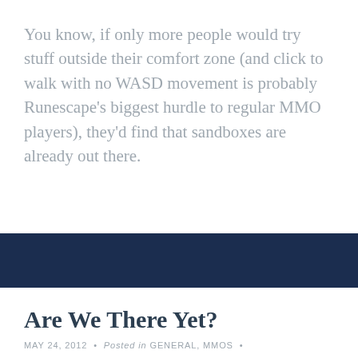You know, if only more people would try stuff outside their comfort zone (and click to walk with no WASD movement is probably Runescape's biggest hurdle to regular MMO players), they'd find that sandboxes are already out there.
Are We There Yet?
MAY 24, 2012 · Posted in GENERAL, MMOS ·